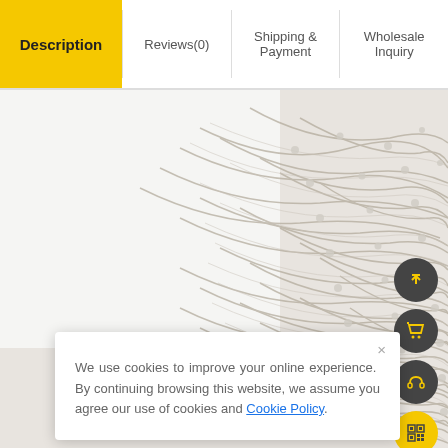Description | Reviews(0) | Shipping & Payment | Wholesale Inquiry
[Figure (photo): Close-up photo of tangled clear/silver wire fairy lights or LED string lights on a white/grey background]
We use cookies to improve your online experience. By continuing browsing this website, we assume you agree our use of cookies and Cookie Policy.